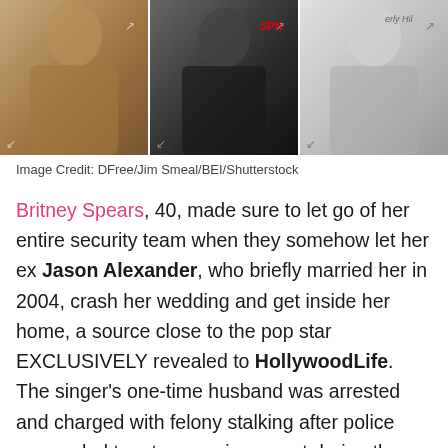[Figure (photo): Three photo strip showing three men, left person in brown jacket, center person in black shirt with ESPN backdrop, right person in white shirt with Beverly Hills backdrop]
Image Credit: DFree/Jim Smeal/BEI/Shutterstock
Britney Spears, 40, made sure to let go of her entire security team when they somehow let her ex Jason Alexander, who briefly married her in 2004, crash her wedding and get inside her home, a source close to the pop star EXCLUSIVELY revealed to HollywoodLife. The singer's one-time husband was arrested and charged with felony stalking after police responded to a trespassing report during the shocking incident, which took place shortly before she exchanged vows with Sam Asghari.